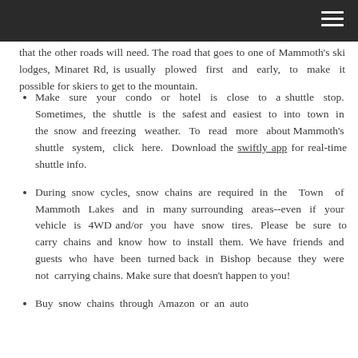[navigation bar with hamburger menu]
that the other roads will need. The road that goes to one of Mammoth's ski lodges, Minaret Rd, is usually plowed first and early, to make it possible for skiers to get to the mountain.
Make sure your condo or hotel is close to a shuttle stop. Sometimes, the shuttle is the safest and easiest to into town in the snow and freezing weather. To read more about Mammoth's shuttle system, click here. Download the swiftly app for real-time shuttle info.
During snow cycles, snow chains are required in the Town of Mammoth Lakes and in many surrounding areas--even if your vehicle is 4WD and/or you have snow tires. Please be sure to carry chains and know how to install them. We have friends and guests who have been turned back in Bishop because they were not carrying chains. Make sure that doesn't happen to you!
Buy snow chains through Amazon or an auto